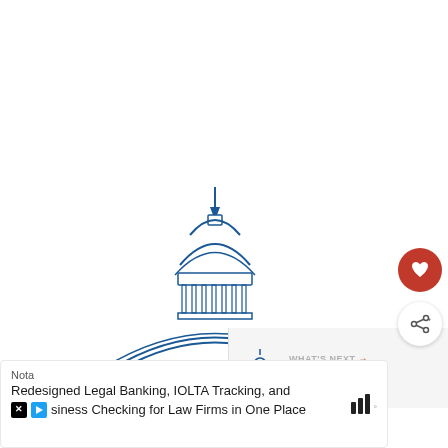[Figure (screenshot): White loading area with three small grey square dots centered, indicating content loading]
[Figure (illustration): Blue line illustration of a capitol building dome, partially visible at bottom of the main content panel]
[Figure (infographic): WHAT'S NEXT panel with small capitol icon, arrow, and the word 'smear']
[Figure (other): Red circular heart (favorite) button and white circular share button floating on right side]
Nota
Redesigned Legal Banking, IOLTA Tracking, and Business Checking for Law Firms in One Place